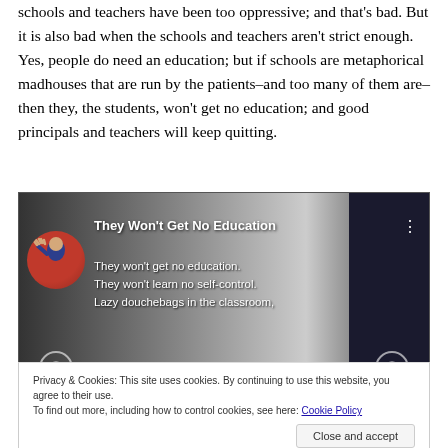schools and teachers have been too oppressive; and that's bad. But it is also bad when the schools and teachers aren't strict enough. Yes, people do need an education; but if schools are metaphorical madhouses that are run by the patients–and too many of them are–then they, the students, won't get no education; and good principals and teachers will keep quitting.
[Figure (screenshot): A YouTube/video screenshot showing 'They Won't Get No Education' with a Spock image on red background as the avatar, and lyrics text: 'They won't get no education. They won't learn no self-control. Lazy douchebags in the classroom,' overlaid on a grey/dark background. A three-dot menu icon is visible in the top right, and circular play/pause buttons are at the bottom.]
Privacy & Cookies: This site uses cookies. By continuing to use this website, you agree to their use.
To find out more, including how to control cookies, see here: Cookie Policy
Close and accept